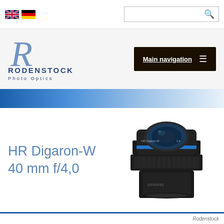[Figure (logo): UK and German flag icons for language selection]
[Figure (logo): Search box with magnifying glass icon]
[Figure (logo): Rodenstock Photo Optics logo with stylized R and text]
Main navigation ≡
[Figure (other): Blue gradient horizontal banner strip]
HR Digaron-W
40 mm f/4,0
[Figure (photo): Photo of Rodenstock HR Digaron-W 40mm f/4.0 lens, black cylindrical camera lens with blue accent ring]